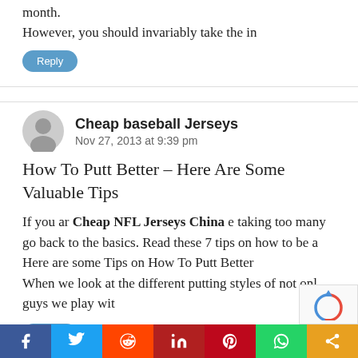month.
However, you should invariably take the in
Reply
Cheap baseball Jerseys
Nov 27, 2013 at 9:39 pm
How To Putt Better – Here Are Some Valuable Tips
If you ar Cheap NFL Jerseys China e taking too many go back to the basics. Read these 7 tips on how to be a Here are some Tips on How To Putt Better When we look at the different putting styles of not only guys we play wit
Reply